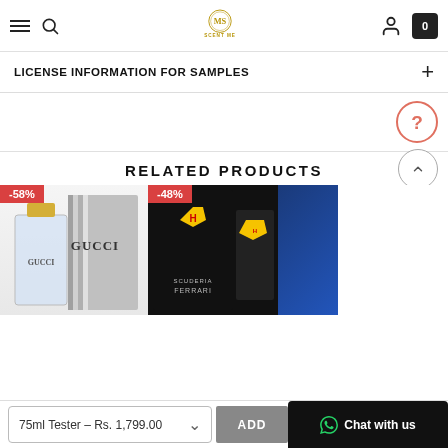SCENT ME — navigation header with hamburger, search, logo, user icon, cart (0)
LICENSE INFORMATION FOR SAMPLES
RELATED PRODUCTS
[Figure (photo): Gucci cologne product — bottle and box, silver/gold design, -58% badge]
[Figure (photo): Scuderia Ferrari Black cologne — black box and bottle, -48% badge]
[Figure (photo): Partial blue product visible on right edge]
75ml Tester – Rs. 1,799.00
ADD
Chat with us